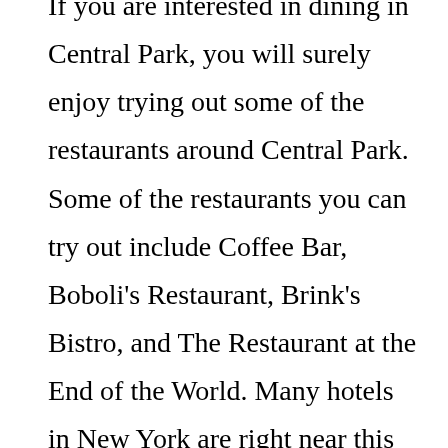If you are interested in dining in Central Park, you will surely enjoy trying out some of the restaurants around Central Park. Some of the restaurants you can try out include Coffee Bar, Boboli's Restaurant, Brink's Bistro, and The Restaurant at the End of the World. Many hotels in New York are right near this place, so you can just come and have a nice relaxing night without worrying about the hotel bill. There are different types of rooms that you can choose from, like single, double or triple